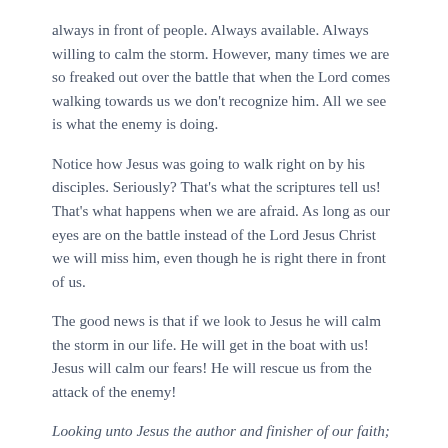always in front of people. Always available. Always willing to calm the storm. However, many times we are so freaked out over the battle that when the Lord comes walking towards us we don't recognize him. All we see is what the enemy is doing.
Notice how Jesus was going to walk right on by his disciples. Seriously? That's what the scriptures tell us! That's what happens when we are afraid. As long as our eyes are on the battle instead of the Lord Jesus Christ we will miss him, even though he is right there in front of us.
The good news is that if we look to Jesus he will calm the storm in our life. He will get in the boat with us! Jesus will calm our fears! He will rescue us from the attack of the enemy!
Looking unto Jesus the author and finisher of our faith; who for the joy that was set before him endured the cross, despising the shame, and is set down at the right hand of the throne of God. Hebrews 12:2
When the disciples saw Jesus walking on the water they mistook him for a spirit. They cried out in fear.